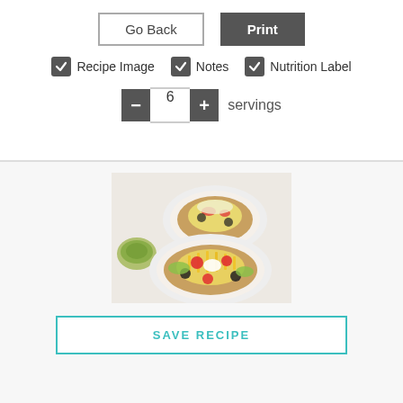[Figure (screenshot): UI with Go Back and Print buttons, checkboxes for Recipe Image, Notes, Nutrition Label, servings stepper set to 6, a photo of taco pizzas on plates, and a SAVE RECIPE button]
Go Back
Print
Recipe Image
Notes
Nutrition Label
6 servings
[Figure (photo): Two taco pizzas on white plates with melted cheese, black olives, cherry tomatoes, shredded lettuce, and a bowl of guacamole on the side]
SAVE RECIPE